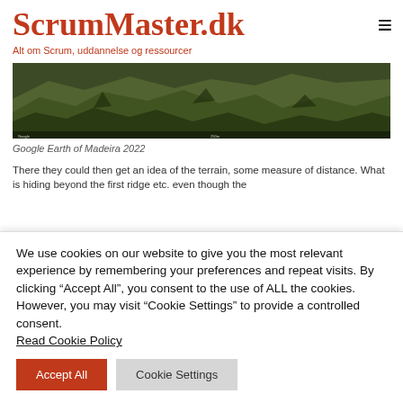ScrumMaster.dk — Alt om Scrum, uddannelse og ressourcer
[Figure (screenshot): Google Earth satellite view of Madeira island terrain showing mountain ridges and valleys]
Google Earth of Madeira 2022
There they could then get an idea of the terrain, some measure of distance. What is hiding beyond the first ridge etc. even though the
We use cookies on our website to give you the most relevant experience by remembering your preferences and repeat visits. By clicking “Accept All”, you consent to the use of ALL the cookies. However, you may visit “Cookie Settings” to provide a controlled consent. Read Cookie Policy
Accept All | Cookie Settings